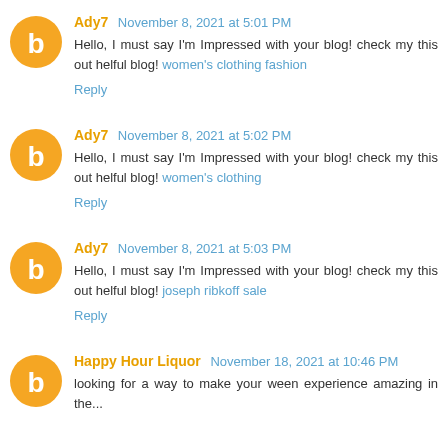Ady7 November 8, 2021 at 5:01 PM
Hello, I must say I'm Impressed with your blog! check my this out helful blog! women's clothing fashion
Reply
Ady7 November 8, 2021 at 5:02 PM
Hello, I must say I'm Impressed with your blog! check my this out helful blog! women's clothing
Reply
Ady7 November 8, 2021 at 5:03 PM
Hello, I must say I'm Impressed with your blog! check my this out helful blog! joseph ribkoff sale
Reply
Happy Hour Liquor November 18, 2021 at 10:46 PM
Looking for a way to...